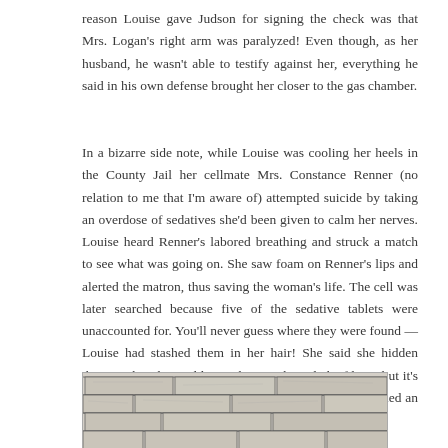reason Louise gave Judson for signing the check was that Mrs. Logan's right arm was paralyzed! Even though, as her husband, he wasn't able to testify against her, everything he said in his own defense brought her closer to the gas chamber.
In a bizarre side note, while Louise was cooling her heels in the County Jail her cellmate Mrs. Constance Renner (no relation to me that I'm aware of) attempted suicide by taking an overdose of sedatives she'd been given to calm her nerves. Louise heard Renner's labored breathing and struck a match to see what was going on. She saw foam on Renner's lips and alerted the matron, thus saving the woman's life. The cell was later searched because five of the sedative tablets were unaccounted for. You'll never guess where they were found — Louise had stashed them in her hair! She said she hidden them so that she could give them to the jail chief later, but it's obvious that she was keeping them just in case she needed an exit strategy.
[Figure (illustration): A black and white illustration of a stone or brick wall, showing large roughly-hewn stone blocks with mortar lines between them.]